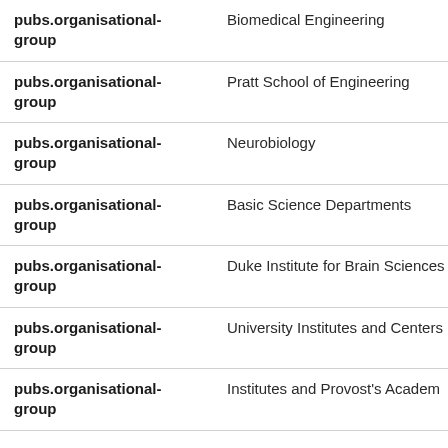| Field | Value |
| --- | --- |
| pubs.organisational-group | Biomedical Engineering |
| pubs.organisational-group | Pratt School of Engineering |
| pubs.organisational-group | Neurobiology |
| pubs.organisational-group | Basic Science Departments |
| pubs.organisational-group | Duke Institute for Brain Sciences |
| pubs.organisational-group | University Institutes and Centers |
| pubs.organisational-group | Institutes and Provost's Academ |